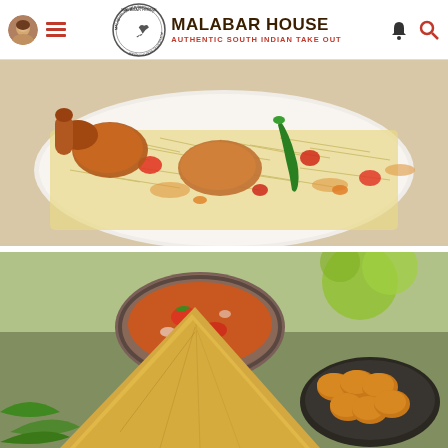Malabar House - Authentic South Indian Take Out - website header navigation
[Figure (photo): A plate of South Indian biryani with chicken pieces, rice, green chili, and red tomato pieces on a white plate]
[Figure (photo): South Indian food spread including a dosa triangle, bowl of sambar/curry with tomatoes, and a plate of fried golden snacks/balls on a dark plate with green leaves]